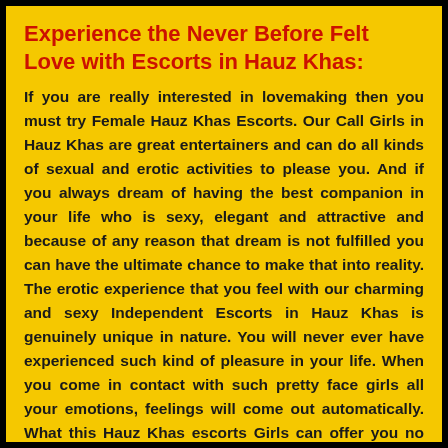Experience the Never Before Felt Love with Escorts in Hauz Khas:
If you are really interested in lovemaking then you must try Female Hauz Khas Escorts. Our Call Girls in Hauz Khas are great entertainers and can do all kinds of sexual and erotic activities to please you. And if you always dream of having the best companion in your life who is sexy, elegant and attractive and because of any reason that dream is not fulfilled you can have the ultimate chance to make that into reality. The erotic experience that you feel with our charming and sexy Independent Escorts in Hauz Khas is genuinely unique in nature. You will never ever have experienced such kind of pleasure in your life. When you come in contact with such pretty face girls all your emotions, feelings will come out automatically. What this Hauz Khas escorts Girls can offer you no other female Delhi Call Girls can